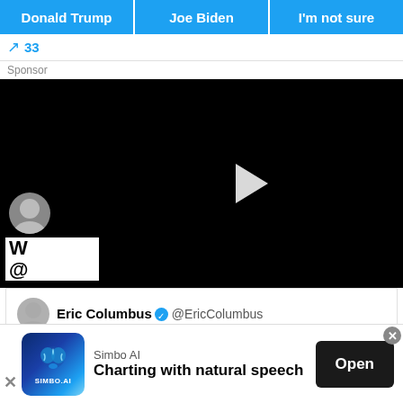[Figure (screenshot): Screenshot of a social media poll or quiz interface showing three blue tab buttons at the top: 'Donald Trump', 'Joe Biden', 'I'm not sure', followed by a notification bar with a trending icon and number 33, a sponsored content row, a black video player with a play button, a partially visible Twitter-style feed showing an avatar and text starting with 'W' and '@', a tweet card from Eric Columbus (@EricColumbus, verified) reading 'Trump cluelessly retweets Brit Hume saying that Trump will unify the Democrats against him.' with a retweeted label 'Donald J. Trump Retweeted' circled in red, and an advertisement at the bottom for Simbo AI 'Charting with natural speech' with an Open button.]